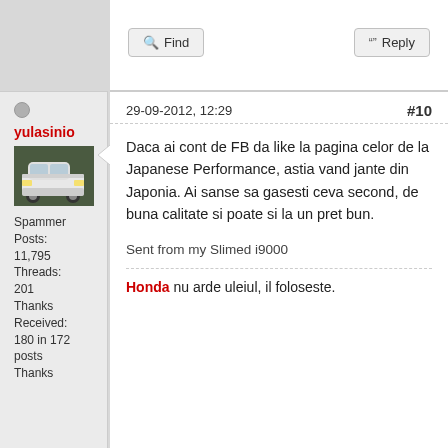Find
Reply
29-09-2012, 12:29   #10
yulasinio
[Figure (photo): White Honda car, front three-quarter view]
Spammer Posts: 11,795 Threads: 201 Thanks Received: 180 in 172 posts Thanks
Daca ai cont de FB da like la pagina celor de la Japanese Performance, astia vand jante din Japonia. Ai sanse sa gasesti ceva second, de buna calitate si poate si la un pret bun.
Sent from my Slimed i9000
Honda nu arde uleiul, il foloseste.